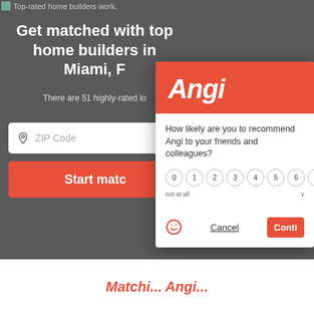[Figure (screenshot): Angi website background showing home builder matching page with dark gray background, ZIP code input field, and Start match button]
Get matched with top home builders in Miami, FL
There are 51 highly-rated lo...
[Figure (screenshot): Angi NPS survey modal dialog with red header showing Angi logo, question 'How likely are you to recommend Angi to your friends and colleagues?', rating scale 0-8, Cancel button, and Continue button]
How likely are you to recommend Angi to your friends and colleagues?
not at all
Cancel
Matchi... Angi...